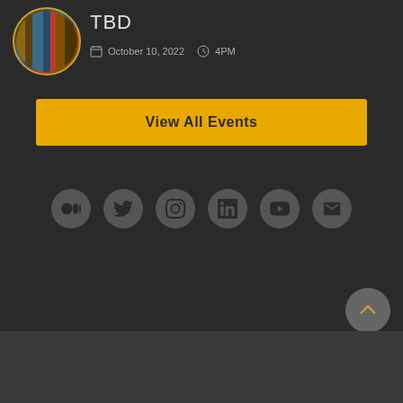[Figure (photo): Circular photo of books on a shelf with a golden border]
TBD
October 10, 2022  4PM
View All Events
[Figure (other): Row of six social media icon buttons: Medium, Twitter, Instagram, LinkedIn, YouTube, Email]
[Figure (other): Scroll-to-top button with upward chevron]
Privacy FAQ Terms
Copyright © 2022
All Rights Reserved